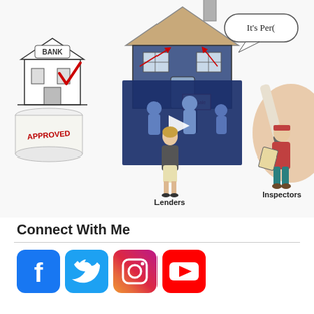[Figure (illustration): Whiteboard-style illustration showing real estate transaction participants: a bank building with checkmark, an 'APPROVED' scroll document, a woman labeled 'Lenders', a house with a For Sale sign, a video play button overlay (dark blue square with white triangle), a speech bubble saying 'It's Per(fect)', an inspector in red jacket and teal pants holding a clipboard labeled 'Inspectors', a woman in teal skirt labeled 'Lawyer or Notary', and a hand holding a marker on the right side.]
Connect With Me
[Figure (infographic): Four social media icons in a row: Facebook (blue rounded square with 'f'), Twitter (cyan rounded square with bird), Instagram (gradient rounded square with camera), YouTube (red rounded square with play triangle)]